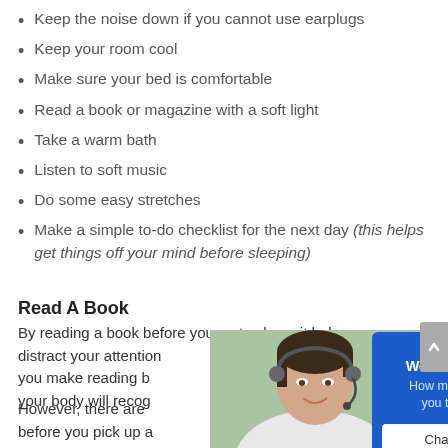Keep the noise down if you cannot use earplugs
Keep your room cool
Make sure your bed is comfortable
Read a book or magazine with a soft light
Take a warm bath
Listen to soft music
Do some easy stretches
Make a simple to-do checklist for the next day (this helps get things off your mind before sleeping)
Read A Book
By reading a book before you go to sleep, it helps distract your attenti… you make reading b… your body will recog…
[Figure (photo): Woman with headset smiling, customer support representative]
[Figure (infographic): We're Online! chat widget with blue background, text 'How may I help you today?' and 'Chat now' button]
However, there are … before you pick up a… what book you choose to read. If the story is too